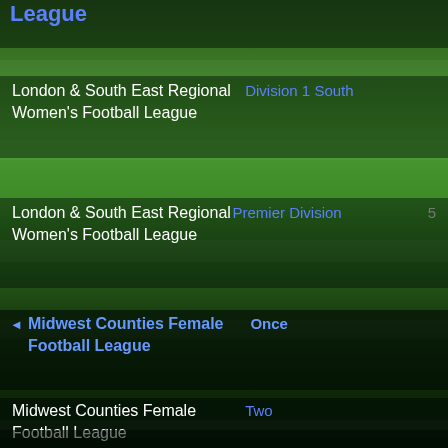League
London & South East Regional Women's Football League | Division 1 South
London & South East Regional Women's Football League | Premier Division | 5
Midwest Counties Female Football League | Once
Midwest Counties Female Football League | Two
Midwest Counties Female Football League | One